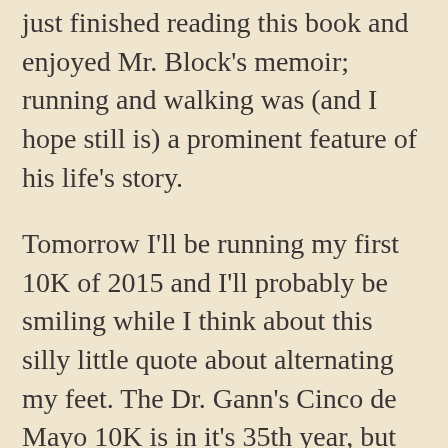just finished reading this book and enjoyed Mr. Block's memoir; running and walking was (and I hope still is) a prominent feature of his life's story.
Tomorrow I'll be running my first 10K of 2015 and I'll probably be smiling while I think about this silly little quote about alternating my feet. The Dr. Gann's Cinco de Mayo 10K is in it's 35th year, but tomorrow will only be the second time I've run this race. It's an out and back mixed, hilly route which thankfully ends with